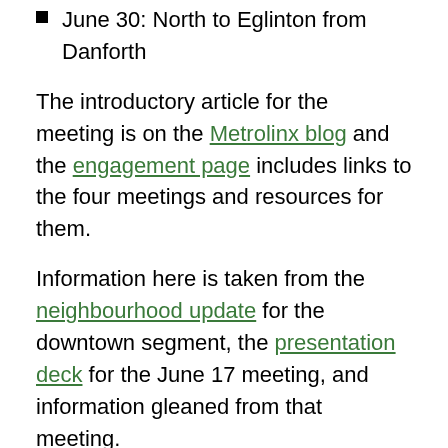June 30: North to Eglinton from Danforth
The introductory article for the meeting is on the Metrolinx blog and the engagement page includes links to the four meetings and resources for them.
Information here is taken from the neighbourhood update for the downtown segment, the presentation deck for the June 17 meeting, and information gleaned from that meeting.
This segment runs from Osgoode Station over to the Don River. An important structural point about the Ontario Line is that the downtown segment is in bedrock unlike the Eglinton Crosstown line which is tunneled through glacial till.
On Eglinton this meant that passing under Line 1 at